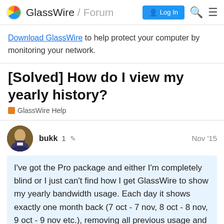GlassWire / Forum  Log In
Download GlassWire to help protect your computer by monitoring your network.
[Solved] How do I view my yearly history?
GlassWire Help
bukk  1  Nov '15
I've got the Pro package and either I'm completely blind or I just can't find how I get GlassWire to show my yearly bandwidth usage. Each day it shows exactly one month back (7 oct - 7 nov, 8 oct - 8 nov, 9 oct - 9 nov etc.), removing all previous usage and graph data, even if I click the "Year" ta... expecting it to show from the first day of th...
1 / 18